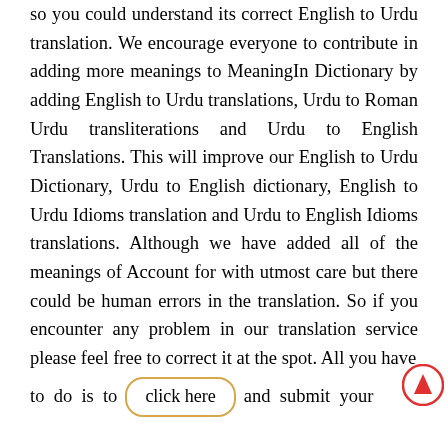so you could understand its correct English to Urdu translation. We encourage everyone to contribute in adding more meanings to MeaningIn Dictionary by adding English to Urdu translations, Urdu to Roman Urdu transliterations and Urdu to English Translations. This will improve our English to Urdu Dictionary, Urdu to English dictionary, English to Urdu Idioms translation and Urdu to English Idioms translations. Although we have added all of the meanings of Account for with utmost care but there could be human errors in the translation. So if you encounter any problem in our translation service please feel free to correct it at the spot. All you have to do is to click here and submit your correction.
[Figure (other): Red circle with upward-pointing triangle (scroll-to-top button)]